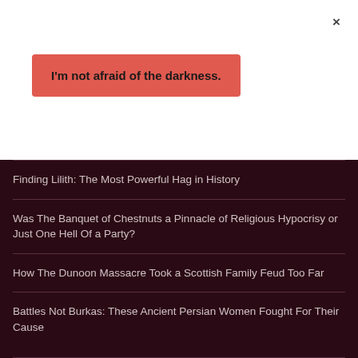×
I'm not afraid of the darkness.
Finding Lilith: The Most Powerful Hag in History
Was The Banquet of Chestnuts a Pinnacle of Religious Hypocrisy or Just One Hell Of a Party?
How The Dunoon Massacre Took a Scottish Family Feud Too Far
Battles Not Burkas: These Ancient Persian Women Fought For Their Cause